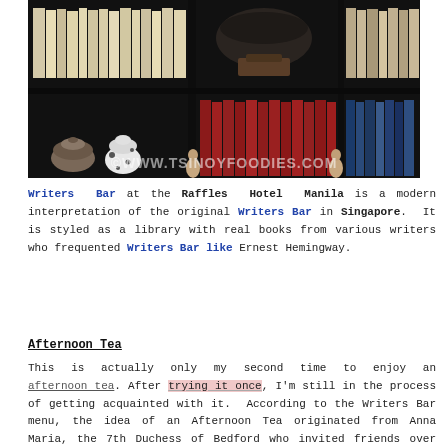[Figure (photo): Photo of a dark bookshelf with red, cream, and multicolored books arranged in rows. A decorative blue and white ceramic vase and small figurines are visible on the lower shelf. A watermark reads ©WWW.TSINOYFOODIES.COM.]
Writers Bar at the Raffles Hotel Manila is a modern interpretation of the original Writers Bar in Singapore. It is styled as a library with real books from various writers who frequented Writers Bar like Ernest Hemingway.
Afternoon Tea
This is actually only my second time to enjoy an afternoon tea. After trying it once, I'm still in the process of getting acquainted with it. According to the Writers Bar menu, the idea of an Afternoon Tea originated from Anna Maria, the 7th Duchess of Bedford who invited friends over for tea after having...